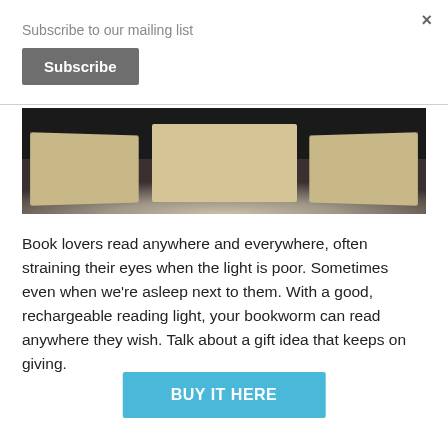Subscribe to our mailing list
Subscribe
×
[Figure (photo): Dark background photo showing cardboard boxes or book-shaped objects with warm tan/beige coloring, illuminated from below against a dark surface.]
Book lovers read anywhere and everywhere, often straining their eyes when the light is poor. Sometimes even when we're asleep next to them. With a good, rechargeable reading light, your bookworm can read anywhere they wish. Talk about a gift idea that keeps on giving.
BUY IT HERE